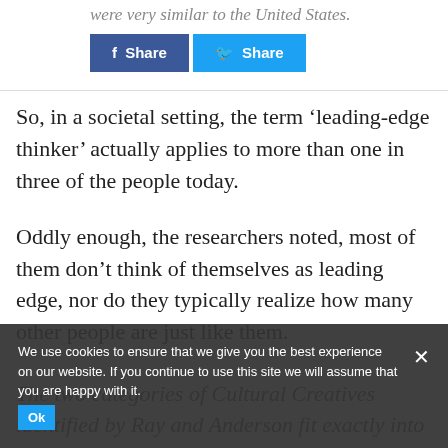were very similar to the United States.
[Figure (other): Facebook Share button and Twitter Share button]
So, in a societal setting, the term ‘leading-edge thinker’ actually applies to more than one in three of the people today.
Oddly enough, the researchers noted, most of them don’t think of themselves as leading edge, nor do they typically realize how many other people are just like them.
The two categories of Cultural Creatives identified by Ray and Anderson fit exactly into the consciousness patterns of lower and
We use cookies to ensure that we give you the best experience on our website. If you continue to use this site we will assume that you are happy with it.